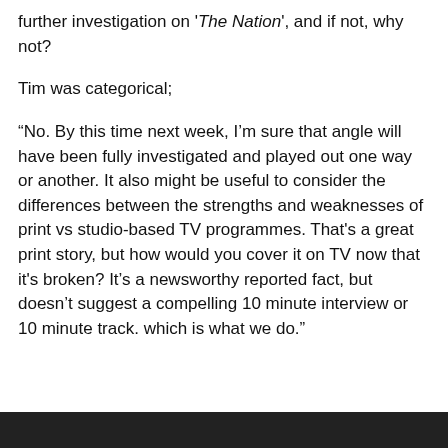further investigation on 'The Nation', and if not, why not?
Tim was categorical;
“No. By this time next week, I’m sure that angle will have been fully investigated and played out one way or another. It also might be useful to consider the differences between the strengths and weaknesses of print vs studio-based TV programmes. That’s a great print story, but how would you cover it on TV now that it’s broken? It’s a newsworthy reported fact, but doesn’t suggest a compelling 10 minute interview or 10 minute track. which is what we do.”
Privacy & Cookies: This site uses cookies. By continuing to use this website, you agree to their use.
To find out more, including how to control cookies, see here: Cookie Policy